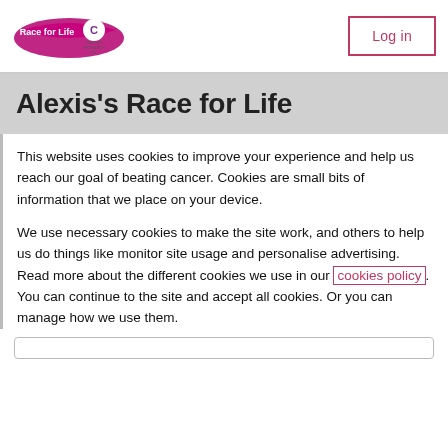[Figure (logo): Race for Life Cancer Research UK logo - pink ribbon/wrap with text]
Log in
Alexis's Race for Life
This website uses cookies to improve your experience and help us reach our goal of beating cancer. Cookies are small bits of information that we place on your device.
We use necessary cookies to make the site work, and others to help us do things like monitor site usage and personalise advertising. Read more about the different cookies we use in our cookies policy. You can continue to the site and accept all cookies. Or you can manage how we use them.